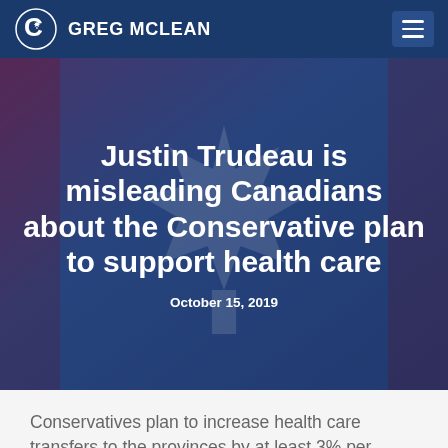GREG MCLEAN
Justin Trudeau is misleading Canadians about the Conservative plan to support health care
October 15, 2019
Conservatives plan to increase health care transfers to the provinces by at least 3% per